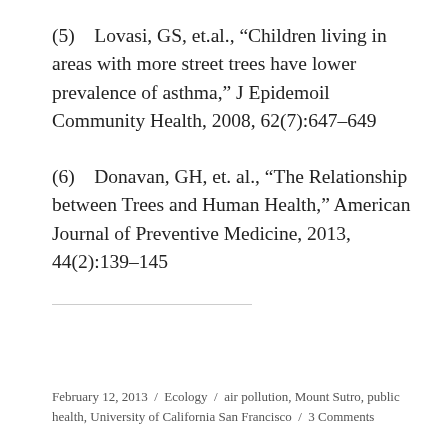(5)   Lovasi, GS, et.al., “Children living in areas with more street trees have lower prevalence of asthma,” J Epidemoil Community Health, 2008, 62(7):647–649
(6)   Donavan, GH, et. al., “The Relationship between Trees and Human Health,” American Journal of Preventive Medicine, 2013, 44(2):139–145
February 12, 2013  /  Ecology  /  air pollution, Mount Sutro, public health, University of California San Francisco  /  3 Comments